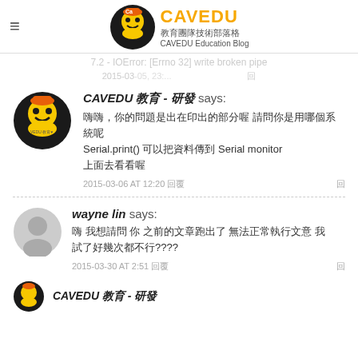CAVEDU 教育團隊技術部落格 CAVEDU Education Blog
7.2 - IOError: [Errno 32] write broken pipe
2015-03-05, 23:... 回
CAVEDU 教育 - 研發 says:
嗨嗨，你的問題是出在印出的部分喔 請問你是用哪個系統呢
Serial.print() 可以把資料傳到 Serial monitor
上面去看看喔
2015-03-06 AT 12:20 回覆 回
wayne lin says:
嗨 我想請問 你 之前的文章跑出了 無法正常執行文意 我
試了好幾次都不行????
2015-03-30 AT 2:51 回覆 回
CAVEDU 教育 - 研發